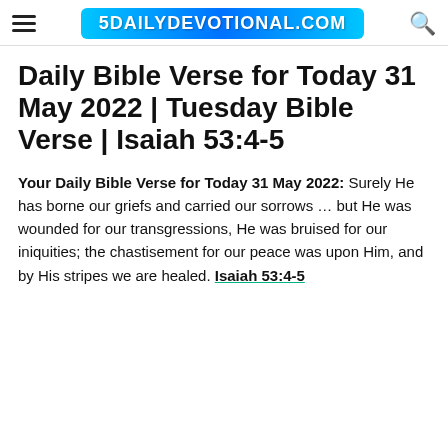5DAILYDEVOTIONAL.COM
Daily Bible Verse for Today 31 May 2022 | Tuesday Bible Verse | Isaiah 53:4-5
Your Daily Bible Verse for Today 31 May 2022: Surely He has borne our griefs and carried our sorrows … but He was wounded for our transgressions, He was bruised for our iniquities; the chastisement for our peace was upon Him, and by His stripes we are healed. Isaiah 53:4-5